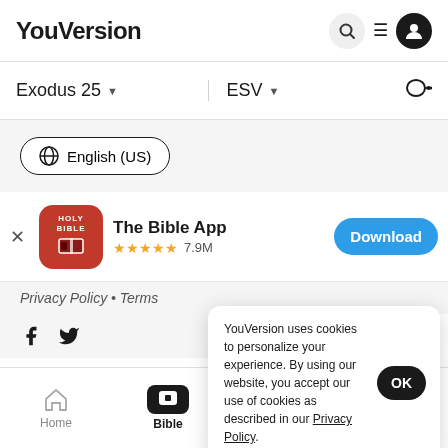YouVersion
Exodus 25   ESV
English (US)
[Figure (screenshot): The Bible App banner with HOLY BIBLE app icon, star rating 7.9M, and Download button]
Privacy Policy • Terms
YouVersion uses cookies to personalize your experience. By using our website, you accept our use of cookies as described in our Privacy Policy.
Home   Bible   Plans   Videos